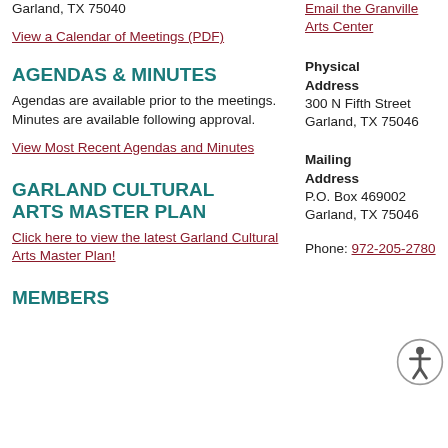Garland, TX 75040
View a Calendar of Meetings (PDF)
AGENDAS & MINUTES
Agendas are available prior to the meetings. Minutes are available following approval.
View Most Recent Agendas and Minutes
GARLAND CULTURAL ARTS MASTER PLAN
Click here to view the latest Garland Cultural Arts Master Plan!
MEMBERS
Email the Granville Arts Center
Physical Address
300 N Fifth Street
Garland, TX 75046
Mailing Address
P.O. Box 469002
Garland, TX 75046
Phone: 972-205-2780